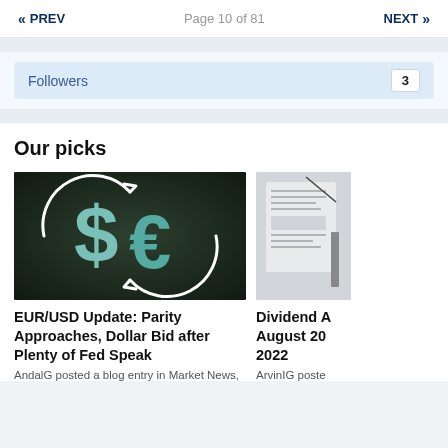« PREV   Page 10 of 81   NEXT »
Followers  3
Our picks
[Figure (photo): 3D metallic dollar and euro currency symbols on dark background with circular arrows indicating currency exchange]
EUR/USD Update: Parity Approaches, Dollar Bid after Plenty of Fed Speak
AndalG posted a blog entry in Market News,
[Figure (photo): Partially visible document or blueprint with pencil on light gray background]
Dividend A August 20 2022
ArvinIG poste